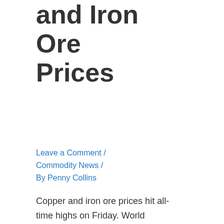and Iron Ore Prices
Leave a Comment / Commodity News / By Penny Collins
Copper and iron ore prices hit all-time highs on Friday. World hopes for a global economic recovery which increases demands for raw materials. Spot iron ore surpassed US$200